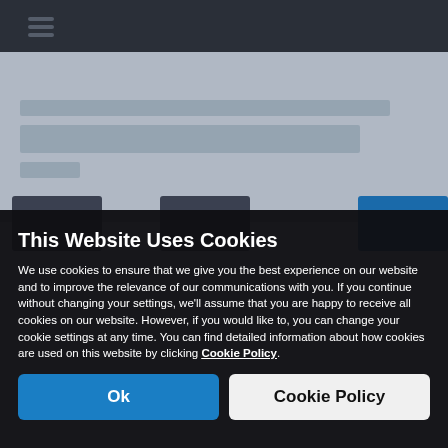[Figure (screenshot): Blurred website background showing a dark navigation bar at top and blurred content/article text below, with partial image thumbnails visible]
This Website Uses Cookies
We use cookies to ensure that we give you the best experience on our website and to improve the relevance of our communications with you. If you continue without changing your settings, we'll assume that you are happy to receive all cookies on our website. However, if you would like to, you can change your cookie settings at any time. You can find detailed information about how cookies are used on this website by clicking Cookie Policy.
Ok
Cookie Policy